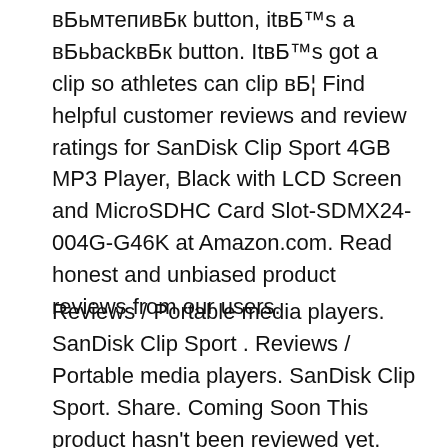вБьмтепивБк button, itвБ™s а вБьbackвБк button. ItвБ™s got a clip so athletes can clip вБ¦ Find helpful customer reviews and review ratings for SanDisk Clip Sport 4GB MP3 Player, Black with LCD Screen and MicroSDHC Card Slot-SDMX24-004G-G46K at Amazon.com. Read honest and unbiased product reviews from our users.
Reviews / Portable media players. SanDisk Clip Sport . Reviews / Portable media players. SanDisk Clip Sport. Share. Coming Soon This product hasn't been reviewed yet. We've added this product to Bring music, audiobooks and other media on the go with this SanDisk Sport Clip Go MP3 player. The sturdy construction